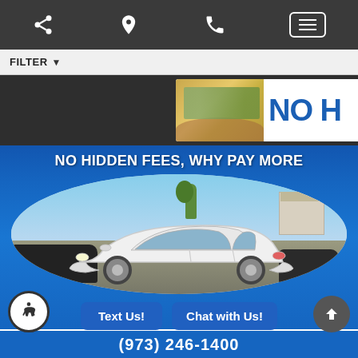Navigation bar with share, location, phone, and menu icons
FILTER
[Figure (photo): Partial banner showing hands holding cash and text 'NO H' (truncated 'NO HIDDEN FEES') on white background, set within dark section]
[Figure (photo): Car dealership advertisement banner with blue background, headline 'NO HIDDEN FEES, WHY PAY MORE', and a white Ford Fiesta sedan in oval frame showing dealership lot]
Text Us!
Chat with Us!
(973) 246-1400